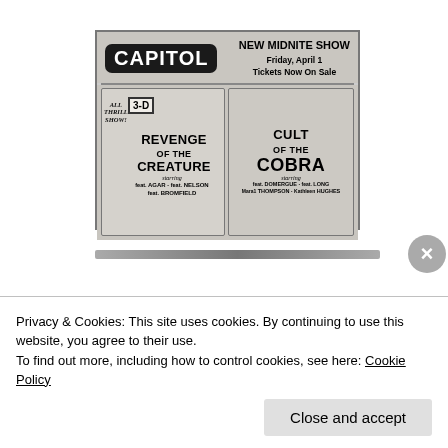[Figure (photo): Black and white newspaper advertisement for Capitol Theatre. Shows 'CAPITOL' logo with 'NEW MIDNITE SHOW Friday, April 1 Tickets Now On Sale'. Features two movie posters: '3-D REVENGE OF THE CREATURE' (starring AGAR, NELSON, BROMFIELD) and 'CULT OF THE COBRA' (starring DOMERGUE, LONG, THOMPSON, HUGHES). Left side reads 'ALL THRILL SHOW!']
Privacy & Cookies: This site uses cookies. By continuing to use this website, you agree to their use.
To find out more, including how to control cookies, see here: Cookie Policy
Close and accept